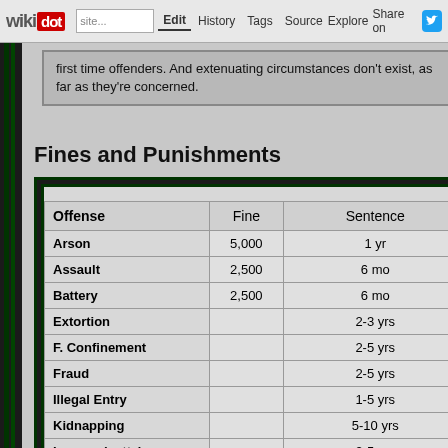wikidot | site | Edit | History | Tags | Source | Explore | Share on Twitter
first time offenders. And extenuating circumstances don't exist, as far as they're concerned.
Fines and Punishments
| Offense | Fine | Sentence |
| --- | --- | --- |
| Arson | 5,000 | 1 yr |
| Assault | 2,500 | 6 mo |
| Battery | 2,500 | 6 mo |
| Extortion |  | 2-3 yrs |
| F. Confinement |  | 2-5 yrs |
| Fraud |  | 2-5 yrs |
| Illegal Entry |  | 1-5 yrs |
| Kidnapping |  | 5-10 yrs |
| Larceny(petty) |  | 2-5 yrs |
| Larceny(grand) |  | 2-10 yrs |
| ... |  | 30 yrs-life or death |